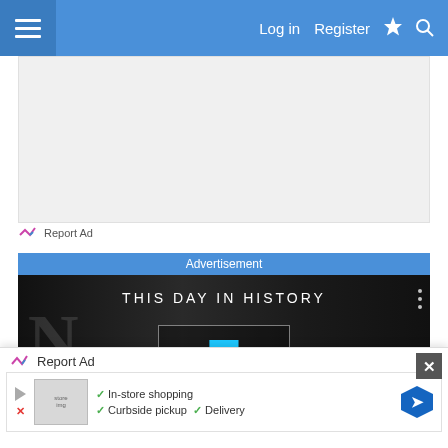Log in  Register
[Figure (screenshot): Gray advertisement placeholder area with Report Ad link]
Report Ad
Advertisement
[Figure (screenshot): This Day in History video card showing the number 7 and the month August with a play button, on a dark background with monochrome photos of people]
[Figure (screenshot): Bottom floating ad bar with Report Ad label, close button (X), and an ad showing store shopping options: In-store shopping, Curbside pickup, Delivery with navigation arrow icon]
Report Ad
In-store shopping  Curbside pickup  Delivery